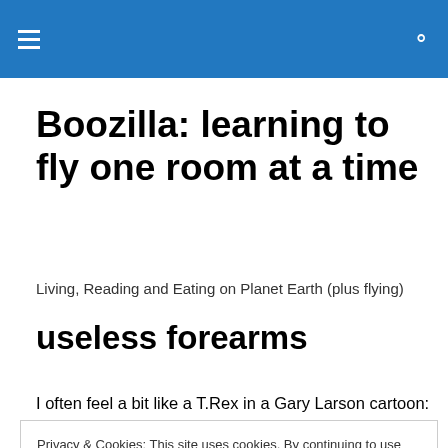Boozilla: learning to fly one room at a time
Boozilla: learning to fly one room at a time
Living, Reading and Eating on Planet Earth (plus flying)
useless forearms
I often feel a bit like a T.Rex in a Gary Larson cartoon:
Privacy & Cookies: This site uses cookies. By continuing to use this website, you agree to their use.
To find out more, including how to control cookies, see here: Cookie Policy
far as the Parrot Affair goes, the airport has definitely burst